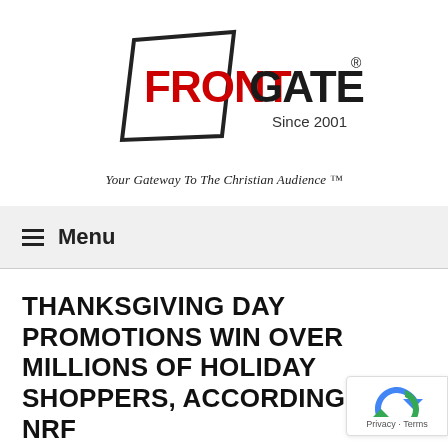[Figure (logo): FrontGate Media logo with geometric shape, FRONT in red, GATE in black, registered trademark symbol, Since 2001, and tagline 'Your Gateway To The Christian Audience™']
≡ Menu
THANKSGIVING DAY PROMOTIONS WIN OVER MILLIONS OF HOLIDAY SHOPPERS, ACCORDING TO NRF
NOVEMBER 26, 2012